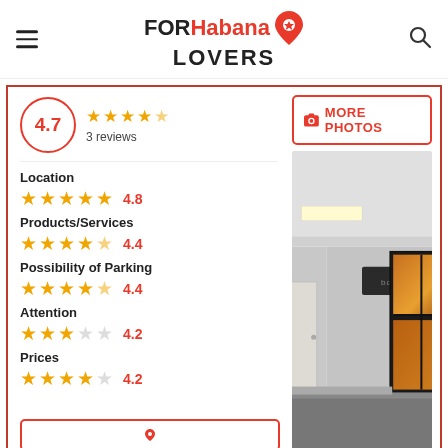FOR Habana LOVERS
4.7 — 3 reviews
Location — 4.8
Products/Services — 4.4
Possibility of Parking — 4.4
Attention — 4.2
Prices — 4.2
[Figure (photo): Interior corridor of a building with a sign reading 'bocubo', windows, and a door]